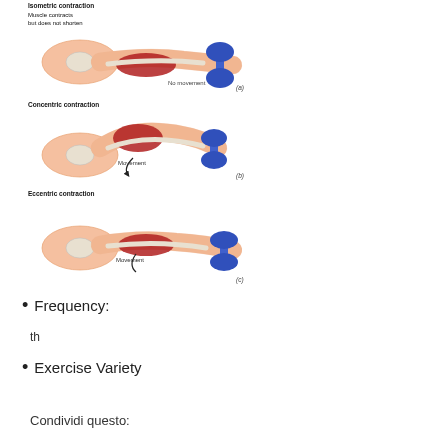[Figure (illustration): Three diagrams showing types of muscle contractions: (a) Isometric contraction - muscle contracts but does not shorten, arm holding dumbbell with 'No movement' label; (b) Concentric contraction - arm curling dumbbell upward with 'Movement' arrow; (c) Eccentric contraction - arm lowering dumbbell with 'Movement' arrow. Each shows anatomical cross-section of arm muscles and bones.]
Frequency:
th
Exercise Variety
Condividi questo: